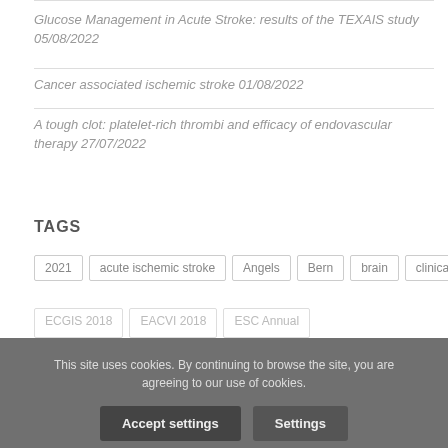Glucose Management in Acute Stroke: results of the TEXAIS study 05/08/2022
Cancer associated ischemic stroke 01/08/2022
A tough clot: platelet-rich thrombi and efficacy of endovascular therapy 27/07/2022
TAGS
2021
acute ischemic stroke
Angels
Bern
brain
clinical
This site uses cookies. By continuing to browse the site, you are agreeing to our use of cookies.